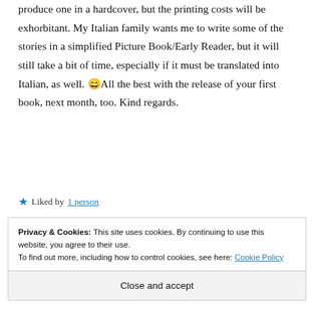produce one in a hardcover, but the printing costs will be exhorbitant. My Italian family wants me to write some of the stories in a simplified Picture Book/Early Reader, but it will still take a bit of time, especially if it must be translated into Italian, as well. 😄 All the best with the release of your first book, next month, too. Kind regards.
★ Liked by 1 person
Privacy & Cookies: This site uses cookies. By continuing to use this website, you agree to their use. To find out more, including how to control cookies, see here: Cookie Policy
Close and accept